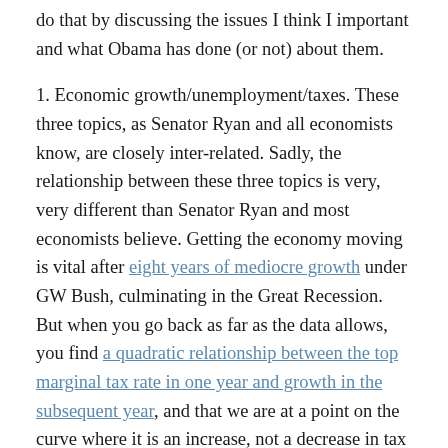do that by discussing the issues I think I important and what Obama has done (or not) about them.
1. Economic growth/unemployment/taxes. These three topics, as Senator Ryan and all economists know, are closely inter-related. Sadly, the relationship between these three topics is very, very different than Senator Ryan and most economists believe. Getting the economy moving is vital after eight years of mediocre growth under GW Bush, culminating in the Great Recession. But when you go back as far as the data allows, you find a quadratic relationship between the top marginal tax rate in one year and growth in the subsequent year, and that we are at a point on the curve where it is an increase, not a decrease in tax rates, that is likely to